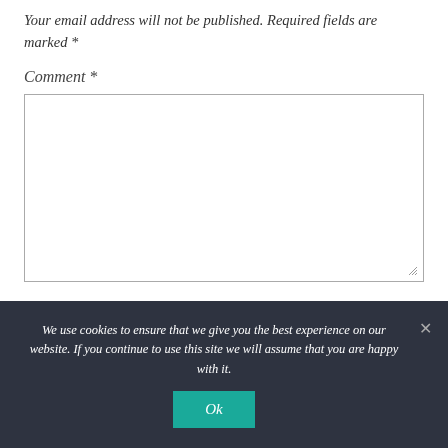Your email address will not be published. Required fields are marked *
Comment *
[Figure (screenshot): Empty comment textarea input box with a resize handle at lower right]
We use cookies to ensure that we give you the best experience on our website. If you continue to use this site we will assume that you are happy with it.
Ok